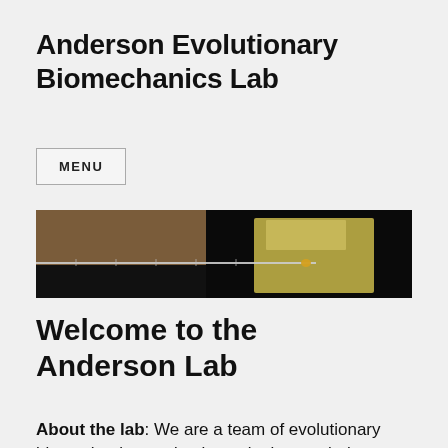Anderson Evolutionary Biomechanics Lab
MENU
[Figure (photo): Close-up photograph of a scientific experiment showing a needle or probe penetrating a yellow/translucent gel block against a dark background]
Welcome to the Anderson Lab
About the lab: We are a team of evolutionary biomechanists and paleontologists exploring